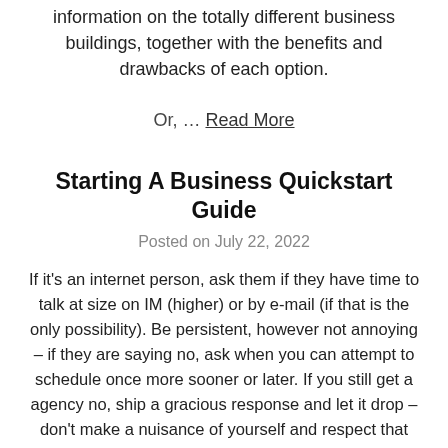information on the totally different business buildings, together with the benefits and drawbacks of each option.
Or, … Read More
Starting A Business Quickstart Guide
Posted on July 22, 2022
If it's an internet person, ask them if they have time to talk at size on IM (higher) or by e-mail (if that is the only possibility). Be persistent, however not annoying – if they are saying no, ask when you can attempt to schedule once more sooner or later. If you still get a agency no, ship a gracious response and let it drop – don't make a nuisance of yourself and respect that different people are very busy. You need to determine and learn about every step in